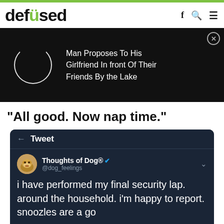defused
[Figure (screenshot): Advertisement banner on black background showing a loading circle and text: Man Proposes To His Girlfriend In front Of Their Friends By the Lake]
“All good. Now nap time.”
[Figure (screenshot): Twitter/Tweet screenshot from Thoughts of Dog® @dog_feelings: i have performed my final security lap. around the household. i'm happy to report. snoozles are a go — 8:30 AM · Nov 28, 2018 · Twitter for iPhone — 13K Retweets 147K Likes]